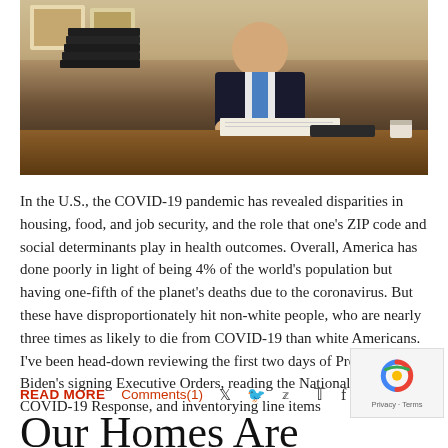[Figure (photo): President Biden signing Executive Orders at a desk, wearing a dark suit with a blue tie, with stacks of documents beside him]
In the U.S., the COVID-19 pandemic has revealed disparities in housing, food, and job security, and the role that one's ZIP code and social determinants play in health outcomes. Overall, America has done poorly in light of being 4% of the world's population but having one-fifth of the planet's deaths due to the coronavirus. But these have disproportionately hit non-white people, who are nearly three times as likely to die from COVID-19 than white Americans. I've been head-down reviewing the first two days of President Biden's signing Executive Orders, reading the National Strategy for COVID-19 Response, and inventorying line items
READ MORE    Comments(1)
Our Homes Are